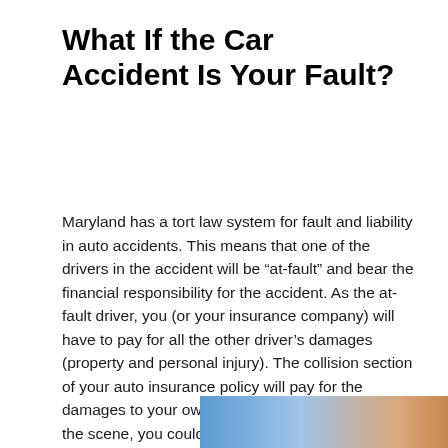What If the Car Accident Is Your Fault?
Maryland has a tort law system for fault and liability in auto accidents. This means that one of the drivers in the accident will be “at-fault” and bear the financial responsibility for the accident. As the at-fault driver, you (or your insurance company) will have to pay for all the other driver’s damages (property and personal injury). The collision section of your auto insurance policy will pay for the damages to your own vehicle. If police respond to the scene, you could potentially get a traffic citation if the officer determines that you violated a traffic law (e.g., ran a red light).
[Figure (photo): Partial image of a car accident or road scene visible at the bottom right of the page]